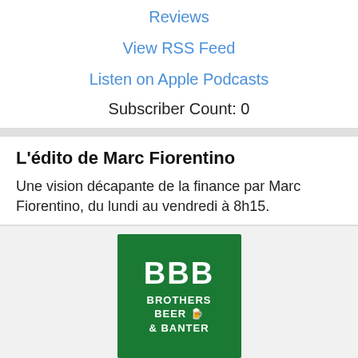Reviews
View RSS Feed
Listen on Apple Podcasts
Subscriber Count: 0
L'édito de Marc Fiorentino
Une vision décapante de la finance par Marc Fiorentino, du lundi au vendredi à 8h15.
[Figure (logo): Green square logo with BBB in large white bold letters, and text BROTHERS BEER & BANTER below with a beer mug emoji]
Brothers, beers, and banter